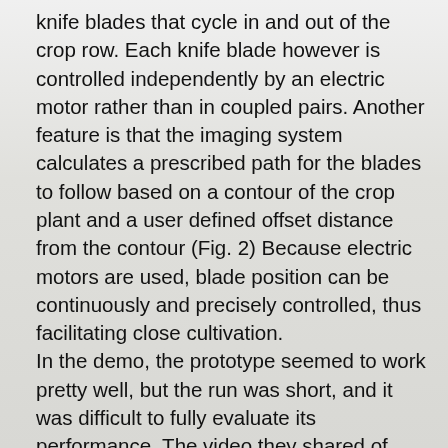knife blades that cycle in and out of the crop row. Each knife blade however is controlled independently by an electric motor rather than in coupled pairs. Another feature is that the imaging system calculates a prescribed path for the blades to follow based on a contour of the crop plant and a user defined offset distance from the contour (Fig. 2) Because electric motors are used, blade position can be continuously and precisely controlled, thus facilitating close cultivation.
In the demo, the prototype seemed to work pretty well, but the run was short, and it was difficult to fully evaluate its performance. The video they shared of their imaging system with path planning and blade movement operating in real time impressed and showed good promise (Fig. 2). The innovation was recently patented, and the company is planning commercial units for interested customers. Developments such as these are worth investigating as our and other researchers' studies have shown that automated in-row weeding machines control about 50-